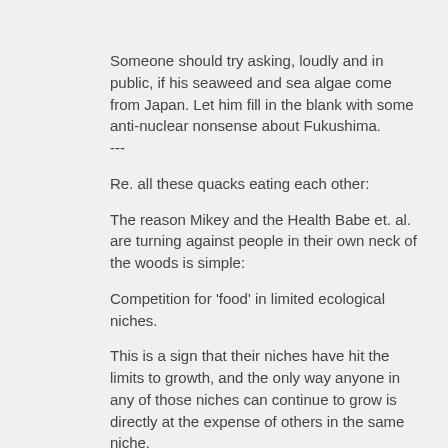Someone should try asking, loudly and in public, if his seaweed and sea algae come from Japan. Let him fill in the blank with some anti-nuclear nonsense about Fukushima.
---
Re. all these quacks eating each other:
The reason Mikey and the Health Babe et. al. are turning against people in their own neck of the woods is simple:
Competition for 'food' in limited ecological niches.
This is a sign that their niches have hit the limits to growth, and the only way anyone in any of those niches can continue to grow is directly at the expense of others in the same niche.
What this suggests is that the market for fetid dingoes' kidneys has hit its limit, so now the quacks are biting at each others' tails. It won't be